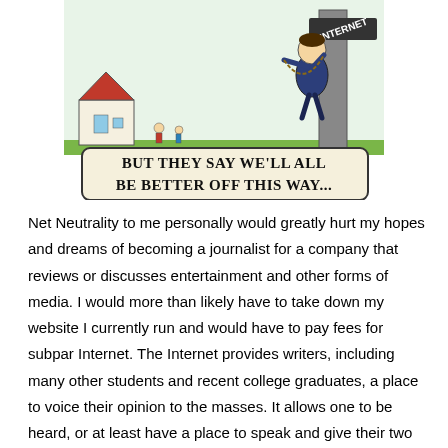[Figure (illustration): Political cartoon showing a man tied to an internet pole with text bubble reading 'BUT THEY SAY WE'LL ALL BE BETTER OFF THIS WAY...']
Net Neutrality to me personally would greatly hurt my hopes and dreams of becoming a journalist for a company that reviews or discusses entertainment and other forms of media. I would more than likely have to take down my website I currently run and would have to pay fees for subpar Internet. The Internet provides writers, including many other students and recent college graduates, a place to voice their opinion to the masses. It allows one to be heard, or at least have a place to speak and give their two cents on an issue. By capping Internet speeds these certain politicians and Internet providers would be stunting and killing off the dreams and intentions of the younger generation. These same politicians say they are supporting this with the intentions of helping our generation, a